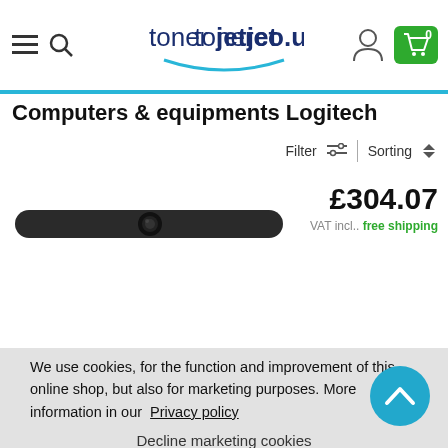[Figure (screenshot): tonerjet.co.uk website header with hamburger menu, search icon, logo, user icon, and green cart button showing 0 items]
Computers & equipments Logitech
Filter   Sorting
[Figure (photo): Logitech webcam product image, dark elongated bar-shaped camera]
£304.07
VAT incl.. free shipping
We use cookies, for the function and improvement of this online shop, but also for marketing purposes. More information in our Privacy policy
Decline marketing cookies
Allow all cookies ✓